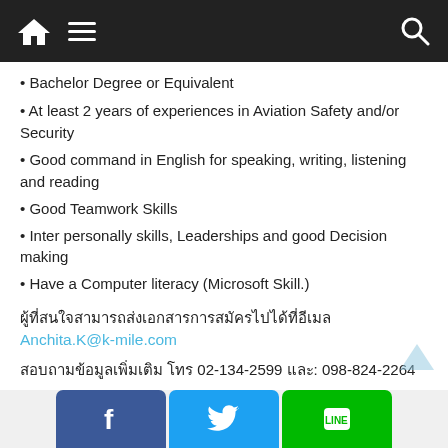Navigation bar with home, menu, and search icons
• Bachelor Degree or Equivalent
• At least 2 years of experiences in Aviation Safety and/or Security
• Good command in English for speaking, writing, listening and reading
• Good Teamwork Skills
• Inter personally skills, Leaderships and good Decision making
• Have a Computer literacy (Microsoft Skill.)
ผู้ที่สนใจสามารถส่งเอกสารการสมัครไปได้ที่อีเมล
Anchita.K@k-mile.com
สอบถามข้อมูลเพิ่มเติม โทร 02-134-2599 และ: 098-824-2264
[Figure (screenshot): Social media buttons: Facebook, Twitter, LINE at the bottom of the page]